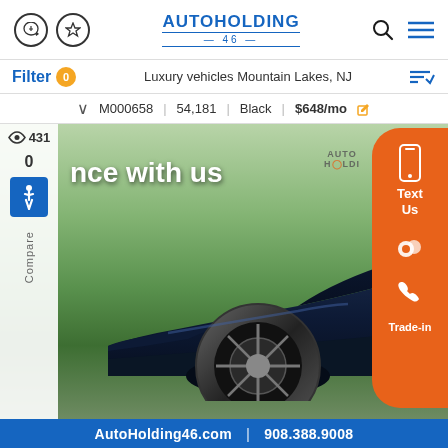AUTOHOLDING 46 — Luxury vehicles Mountain Lakes, NJ
Filter 0 | Luxury vehicles Mountain Lakes, NJ
M000658 | 54,181 | Black | $648/mo
[Figure (photo): Dark navy blue Maserati Levante SUV photographed from the front-left angle in a parking lot, with a green tree background. Banner overlay reads 'nce with us' (Finance with us). Left sidebar shows views count 431 and compare 0. Right sidebar is an orange pill-shaped CTA with Text Us, chat, phone call, and Trade-in options.]
AutoHolding46.com | 908.388.9008